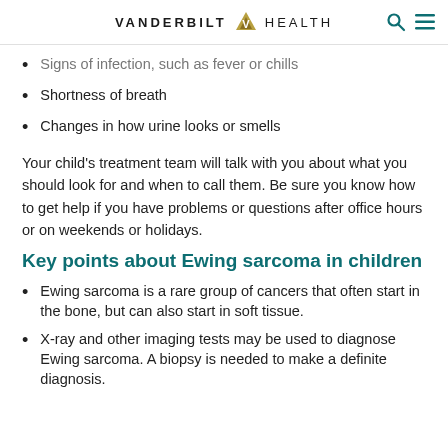VANDERBILT HEALTH
Signs of infection, such as fever or chills
Shortness of breath
Changes in how urine looks or smells
Your child's treatment team will talk with you about what you should look for and when to call them. Be sure you know how to get help if you have problems or questions after office hours or on weekends or holidays.
Key points about Ewing sarcoma in children
Ewing sarcoma is a rare group of cancers that often start in the bone, but can also start in soft tissue.
X-ray and other imaging tests may be used to diagnose Ewing sarcoma. A biopsy is needed to make a definite diagnosis.